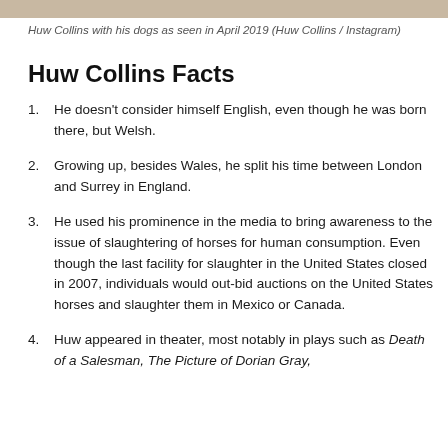[Figure (photo): Top strip of a photo showing Huw Collins with his dogs]
Huw Collins with his dogs as seen in April 2019 (Huw Collins / Instagram)
Huw Collins Facts
He doesn't consider himself English, even though he was born there, but Welsh.
Growing up, besides Wales, he split his time between London and Surrey in England.
He used his prominence in the media to bring awareness to the issue of slaughtering of horses for human consumption. Even though the last facility for slaughter in the United States closed in 2007, individuals would out-bid auctions on the United States horses and slaughter them in Mexico or Canada.
Huw appeared in theater, most notably in plays such as Death of a Salesman, The Picture of Dorian Gray,